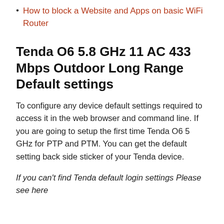How to block a Website and Apps on basic WiFi Router
Tenda O6 5.8 GHz 11 AC 433 Mbps Outdoor Long Range Default settings
To configure any device default settings required to access it in the web browser and command line. If you are going to setup the first time Tenda O6 5 GHz for PTP and PTM. You can get the default setting back side sticker of your Tenda device.
If you can't find Tenda default login settings Please see here